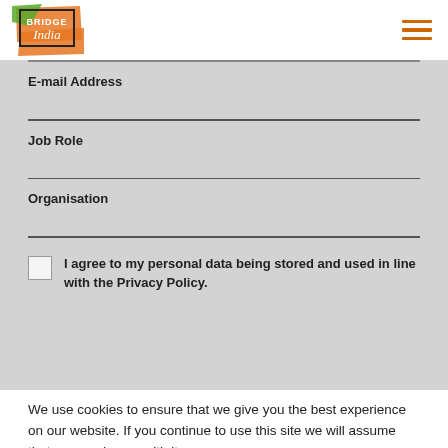[Figure (logo): Bridge India logo with orange and green brush stroke design]
E-mail Address
Job Role
Organisation
I agree to my personal data being stored and used in line with the Privacy Policy.
We use cookies to ensure that we give you the best experience on our website. If you continue to use this site we will assume that you are happy with it.
Ok
Privacy Policy